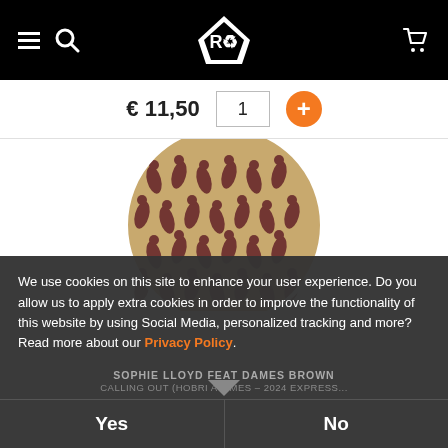Navigation bar with hamburger menu, search icon, logo, and cart icon
€ 11,50  1  +
[Figure (illustration): Circular vinyl record or album artwork with tan/beige background and repeating brown abstract human figure pattern]
We use cookies on this site to enhance your user experience. Do you allow us to apply extra cookies in order to improve the functionality of this website by using Social Media, personalized tracking and more? Read more about our Privacy Policy.
SOPHIE LLOYD FEAT DAMES BROWN
CALLING OUT (HOBRI A TIMES – 2024 EXPRESS...
Yes
No